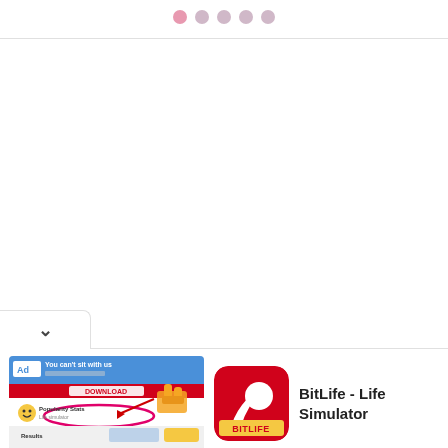[Figure (other): Five pagination dots at top, first dot is pink/active, remaining four are light purple/inactive]
[Figure (screenshot): Ad banner showing 'You can't sit with us' text with a BitLife ad screenshot showing social media interface with pointing hand arrow graphic]
[Figure (logo): BitLife app icon: red/orange background with white sperm cell logo and yellow BITLIFE text]
BitLife - Life Simulator
INSTALL!